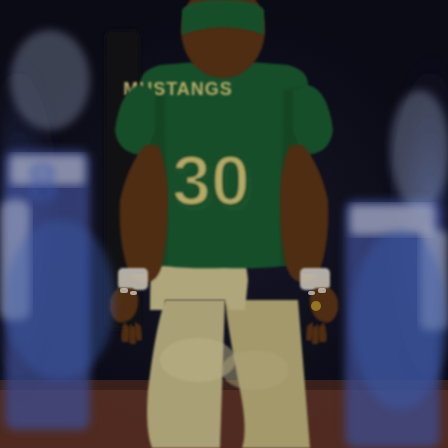[Figure (photo): A football player wearing a green jersey with 'MUSTANGS' text and number 30 in gold/cream lettering, with cream/khaki football pants and white wristbands, standing with hands near waist. Other players in blue and white uniforms are visible in the blurred background on a dark field.]